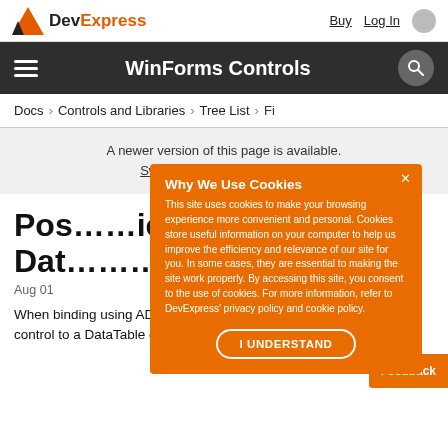DevExpress — Buy | Log In
WinForms Controls
Docs › Controls and Libraries › Tree List › Fi
A newer version of this page is available. Switch to the current version.
Pos... ied Da...
Aug 01
When binding using ADO.NET, you typically bind a control to a DataTable containing data from a datal
[Figure (screenshot): Cookie consent overlay with orange background. Title: 'Why We Use Cookies'. Body text explaining cookies. 'I UNDERSTAND' button. Close X button.]
Feedback